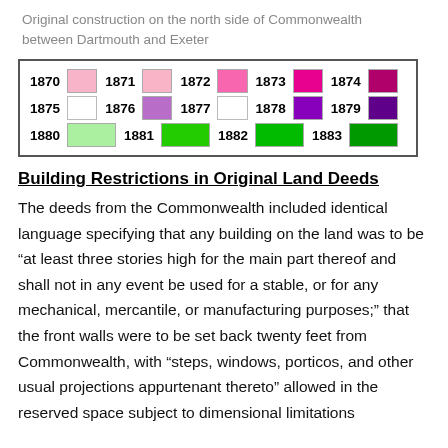Original construction on the north side of Commonwealth between Dartmouth and Exeter
[Figure (infographic): Legend showing color swatches for years 1870–1883, arranged in three rows of five entries each, bordered box.]
Building Restrictions in Original Land Deeds
The deeds from the Commonwealth included identical language specifying that any building on the land was to be “at least three stories high for the main part thereof and shall not in any event be used for a stable, or for any mechanical, mercantile, or manufacturing purposes;” that the front walls were to be set back twenty feet from Commonwealth, with “steps, windows, porticos, and other usual projections appurtenant thereto” allowed in the reserved space subject to dimensional limitations